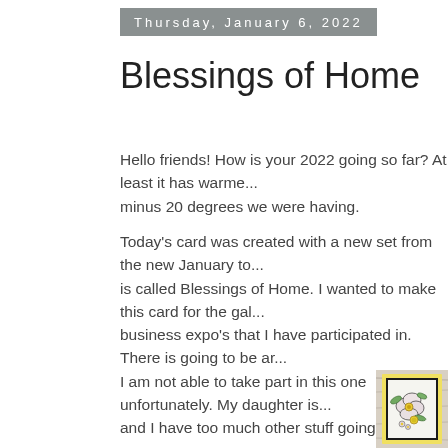Thursday, January 6, 2022
Blessings of Home
Hello friends! How is your 2022 going so far? At least it has warme... minus 20 degrees we were having.
Today's card was created with a new set from the new January to... is called Blessings of Home. I wanted to make this card for the gal... business expo's that I have participated in. There is going to be ar... I am not able to take part in this one unfortunately. My daughter is... and I have too much other stuff going on.
[Figure (photo): Handmade greeting card with floral design featuring large white flowers with yellow centers and green leaves, mounted on yellow scalloped border and black mat, placed on wooden background.]